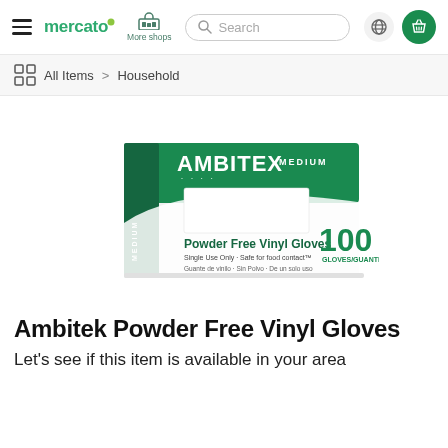mercato | More shops | Search | globe icon | basket icon
All Items > Household
[Figure (photo): Box of Ambitex Powder Free Vinyl Gloves, medium size, 100 gloves, green and white packaging]
Ambitek Powder Free Vinyl Gloves
Let's see if this item is available in your area